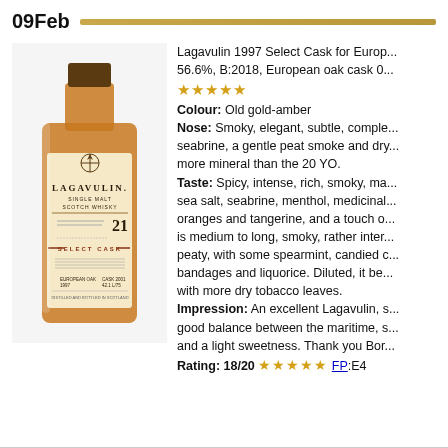09Feb
[Figure (photo): Lagavulin Single Malt Scotch Whisky bottle, 21 year old Select Cask, European Oak, distilled 1997]
Lagavulin 1997 Select Cask for Euro... 56.6%, B:2018, European oak cask 0... ★★★★★ Colour: Old gold-amber Nose: Smoky, elegant, subtle, comple... seabrine, a gentle peat smoke and dry... more mineral than the 20 YO. Taste: Spicy, intense, rich, smoky, ma... sea salt, seabrine, menthol, medicinal... oranges and tangerine, and a touch o... is medium to long, smoky, rather inter... peaty, with some spearmint, candied c... bandages and liquorice. Diluted, it be... with more dry tobacco leaves. Impression: An excellent Lagavulin, s... good balance between the maritime, s... and a light sweetness. Thank you Bor... Rating: 18/20 ★★★★★ FP:E4